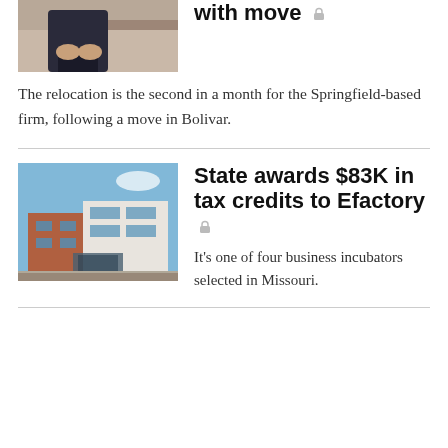[Figure (photo): Partial photo of a person seated, wearing a dark skirt, visible from the waist down in what appears to be an office or lobby setting.]
with move 🔒
The relocation is the second in a month for the Springfield-based firm, following a move in Bolivar.
[Figure (photo): Exterior photo of a modern commercial building with brick and metal cladding under a blue sky.]
State awards $83K in tax credits to Efactory 🔒
It's one of four business incubators selected in Missouri.